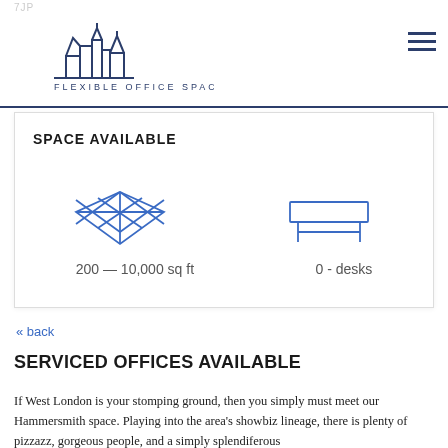FLEXIBLE OFFICE SPACE
SPACE AVAILABLE
[Figure (illustration): Blue diamond/floor grid icon representing square footage]
200 — 10,000 sq ft
[Figure (illustration): Blue desk/table icon representing desks]
0 - desks
« back
SERVICED OFFICES AVAILABLE
If West London is your stomping ground, then you simply must meet our Hammersmith space. Playing into the area's showbiz lineage, there is plenty of pizzazz, gorgeous people, and a simply splendiferous